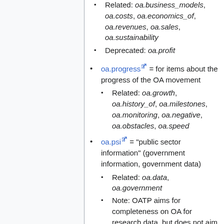Related: oa.business_models, oa.costs, oa.economics_of, oa.revenues, oa.sales, oa.sustainability
Deprecated: oa.profit
oa.progress = for items about the progress of the OA movement
Related: oa.growth, oa.history_of, oa.milestones, oa.monitoring, oa.negative, oa.obstacles, oa.speed
oa.psi = "public sector information" (government information, government data)
Related: oa.data, oa.government
Note: OATP aims for completeness on OA for research data, but does not aim for completeness on OA for